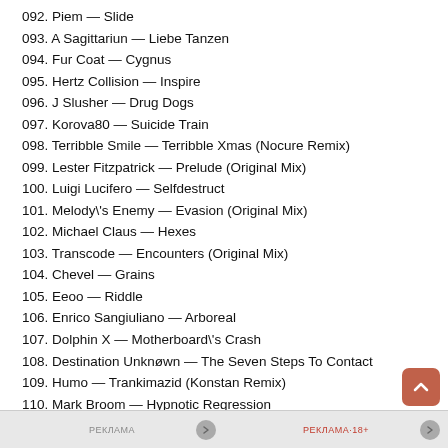092. Piem — Slide
093. A Sagittariun — Liebe Tanzen
094. Fur Coat — Cygnus
095. Hertz Collision — Inspire
096. J Slusher — Drug Dogs
097. Korova80 — Suicide Train
098. Terribble Smile — Terribble Xmas (Nocure Remix)
099. Lester Fitzpatrick — Prelude (Original Mix)
100. Luigi Lucifero — Selfdestruct
101. Melody\'s Enemy — Evasion (Original Mix)
102. Michael Claus — Hexes
103. Transcode — Encounters (Original Mix)
104. Chevel — Grains
105. Eeoo — Riddle
106. Enrico Sangiuliano — Arboreal
107. Dolphin X — Motherboard\'s Crash
108. Destination Unknøwn — The Seven Steps To Contact
109. Humo — Trankimazid (Konstan Remix)
110. Mark Broom — Hypnotic Regression
[Figure (other): Two advertisement banners at the bottom of the page labeled РЕКЛАМА and РЕКЛАМА·18+ with navigation arrows]